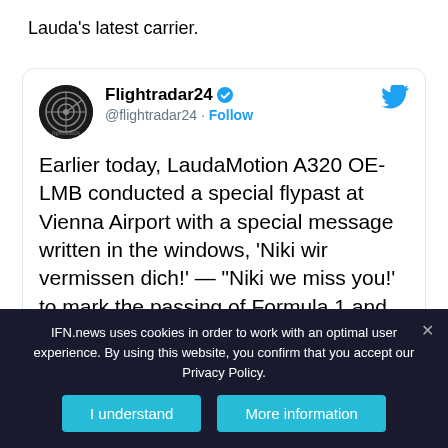Lauda's latest carrier.
[Figure (screenshot): Embedded tweet from Flightradar24 account with verified badge and Twitter bird logo. Tweet text: Earlier today, LaudaMotion A320 OE-LMB conducted a special flypast at Vienna Airport with a special message written in the windows, 'Niki wir vermissen dich!' — "Niki we miss you!' to mark the passing of Formula 1 and aviation legend Niki Lauda. Partial URL visible: flightradar24.com/data/aircraft/]
IFN.news uses cookies in order to work with an optimal user experience. By using this website, you confirm that you accept our Privacy Policy.
I understand
More information